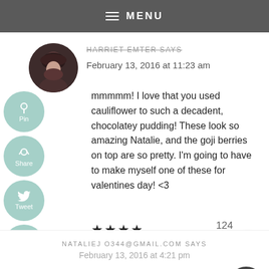MENU
[Figure (photo): Circular avatar photo of a person with dark hair]
HARRIET EMTER SAYS
February 13, 2016 at 11:23 am
mmmmm! I love that you used cauliflower to such a decadent, chocolatey pudding! These look so amazing Natalie, and the goji berries on top are so pretty. I'm going to have to make myself one of these for valentines day! <3
124
NATALIEJ O344@GMAIL.COM SAYS
February 13, 2016 at 4:21 pm